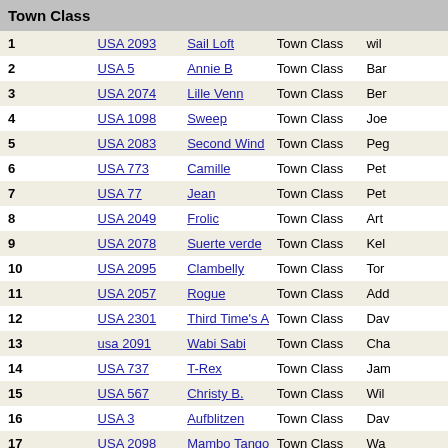Town Class
|  | Sail | Name | Class | Skipper |
| --- | --- | --- | --- | --- |
| 1 | USA 2093 | Sail Loft | Town Class | Wil… |
| 2 | USA 5 | Annie B | Town Class | Bar… |
| 3 | USA 2074 | Lille Venn | Town Class | Ber… |
| 4 | USA 1098 | Sweep | Town Class | Joe… |
| 5 | USA 2083 | Second Wind | Town Class | Peg… |
| 6 | USA 773 | Camille | Town Class | Pet… |
| 7 | USA 77 | Jean | Town Class | Pet… |
| 8 | USA 2049 | Frolic | Town Class | Art… |
| 9 | USA 2078 | Suerte verde | Town Class | Kel… |
| 10 | USA 2095 | Clambelly | Town Class | Tor… |
| 11 | USA 2057 | Rogue | Town Class | Add… |
| 12 | USA 2301 | Third Time's A Charm | Town Class | Dav… |
| 13 | usa 2091 | Wabi Sabi | Town Class | Cha… |
| 14 | USA 737 | T-Rex | Town Class | Jam… |
| 15 | USA 567 | Christy B. | Town Class | Wil… |
| 16 | USA 3 | Aufblitzen | Town Class | Dav… |
| 17 | USA 2098 | Mambo Tango | Town Class | Wa… |
| 18 | USA 2014 | Daisy | Town Class | Jen… |